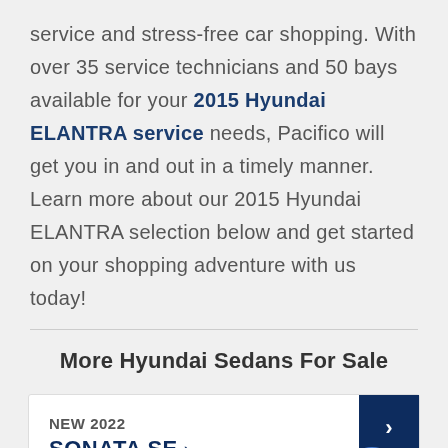service and stress-free car shopping. With over 35 service technicians and 50 bays available for your 2015 Hyundai ELANTRA service needs, Pacifico will get you in and out in a timely manner. Learn more about our 2015 Hyundai ELANTRA selection below and get started on your shopping adventure with us today!
More Hyundai Sedans For Sale
NEW 2022 SONATA SE